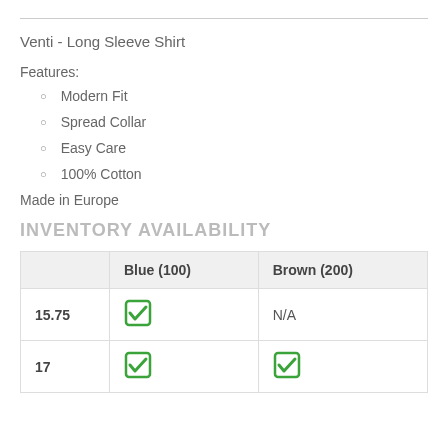Venti - Long Sleeve Shirt
Features:
Modern Fit
Spread Collar
Easy Care
100% Cotton
Made in Europe
INVENTORY AVAILABILITY
|  | Blue (100) | Brown (200) |
| --- | --- | --- |
| 15.75 | ✓ | N/A |
| 17 | ✓ | ✓ |